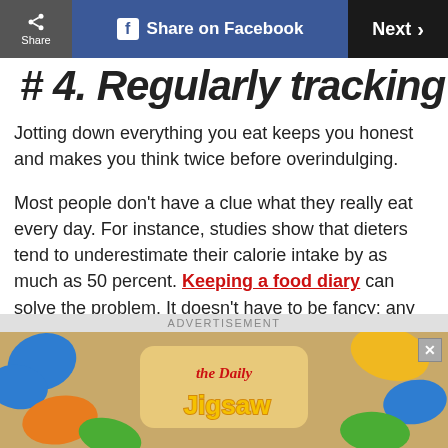Share | Share on Facebook | Next >
# 4. Regularly tracking calories (partial/cut off)
Jotting down everything you eat keeps you honest and makes you think twice before overindulging.
Most people don't have a clue what they really eat every day. For instance, studies show that dieters tend to underestimate their calorie intake by as much as 50 percent. Keeping a food diary can solve the problem. It doesn't have to be fancy; any notebook will do. Just write down every morsel you put in your mouth while you're trying to lose weight (and whenever the number on the scale
[Figure (other): Advertisement banner showing 'The Daily Jigsaw' puzzle game with colorful puzzle pieces on a tan/brown background. An X close button is in the top-right corner.]